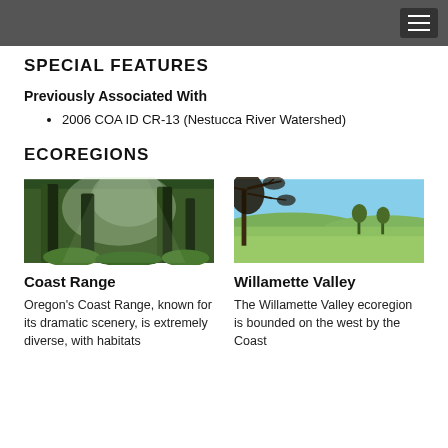SPECIAL FEATURES
Previously Associated With
2006 COA ID CR-13 (Nestucca River Watershed)
ECOREGIONS
[Figure (photo): Dense mossy forest with large trees and ferns - Coast Range]
[Figure (photo): Open pastoral valley landscape with oak trees and green fields - Willamette Valley]
Coast Range
Willamette Valley
Oregon's Coast Range, known for its dramatic scenery, is extremely diverse, with habitats
The Willamette Valley ecoregion is bounded on the west by the Coast